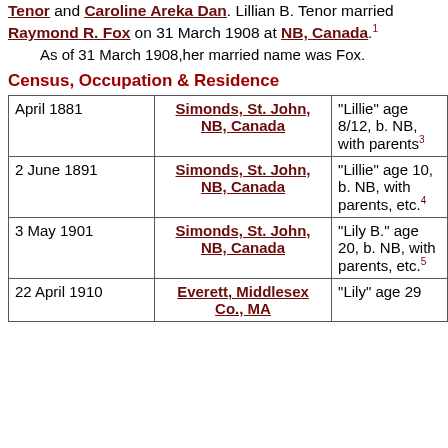Tenor and Caroline Areka Dan. Lillian B. Tenor married Raymond R. Fox on 31 March 1908 at NB, Canada.[1] As of 31 March 1908, her married name was Fox.
Census, Occupation & Residence
| Date | Place | Description |
| --- | --- | --- |
| April 1881 | Simonds, St. John, NB, Canada | "Lillie" age 8/12, b. NB, with parents[3] |
| 2 June 1891 | Simonds, St. John, NB, Canada | "Lillie" age 10, b. NB, with parents, etc.[4] |
| 3 May 1901 | Simonds, St. John, NB, Canada | "Lily B." age 20, b. NB, with parents, etc.[5] |
| 22 April 1910 | Everett, Middlesex Co., MA | "Lily" age 29 |